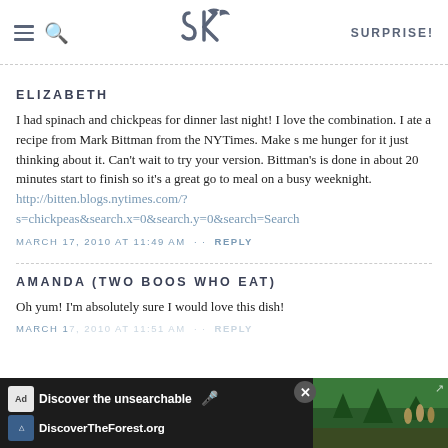SK SURPRISE!
ELIZABETH
I had spinach and chickpeas for dinner last night! I love the combination. I ate a recipe from Mark Bittman from the NYTimes. Make s me hunger for it just thinking about it. Can't wait to try your version. Bittman's is done in about 20 minutes start to finish so it's a great go to meal on a busy weeknight. http://bitten.blogs.nytimes.com/?s=chickpeas&search.x=0&search.y=0&search=Search
MARCH 17, 2010 AT 11:49 AM · · REPLY
AMANDA (TWO BOOS WHO EAT)
Oh yum! I'm absolutely sure I would love this dish!
MARCH 17, 2010 AT 11:51 AM · · REPLY
[Figure (other): Ad banner: Discover the unsearchable / DiscoverTheForest.org with forest image and close button]